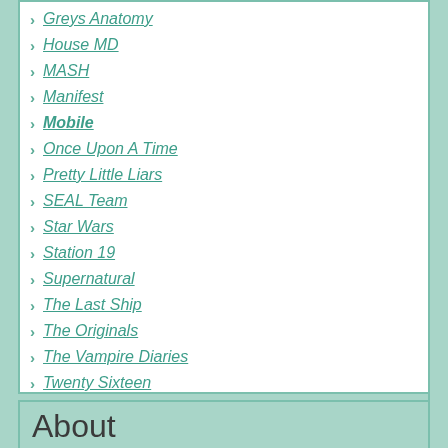Greys Anatomy
House MD
MASH
Manifest
Mobile
Once Upon A Time
Pretty Little Liars
SEAL Team
Star Wars
Station 19
Supernatural
The Last Ship
The Originals
The Vampire Diaries
Twenty Sixteen
About